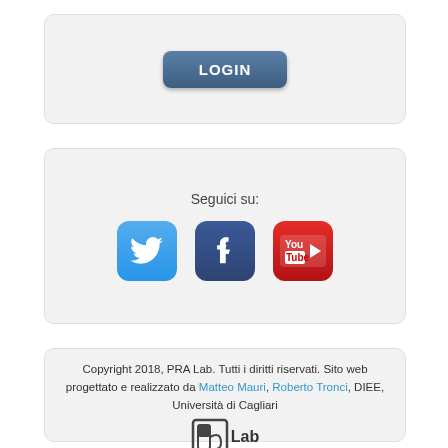[Figure (screenshot): A rounded card with a LOGIN button styled in dark steel blue with white bold text]
[Figure (screenshot): A rounded card with text 'Seguici su:' and three social media icons: Twitter (blue bird), Facebook (dark blue f), YouTube (red with You/Tube logo)]
Copyright 2018, PRA Lab. Tutti i diritti riservati. Sito web progettato e realizzato da Matteo Mauri, Roberto Tronci, DIEE, Università di Cagliari
[Figure (logo): PRA Lab logo — stylized P and B letters with 'Lab' text]